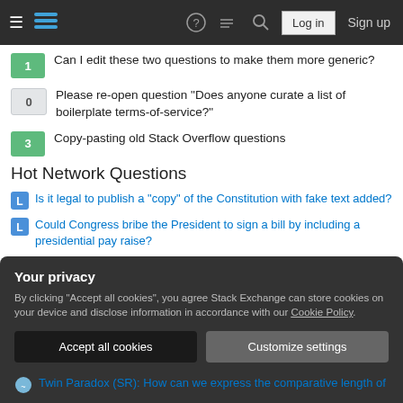Stack Exchange navigation bar with Log in and Sign up buttons
1 — Can I edit these two questions to make them more generic?
0 — Please re-open question "Does anyone curate a list of boilerplate terms-of-service?"
3 — Copy-pasting old Stack Overflow questions
Hot Network Questions
Is it legal to publish a "copy" of the Constitution with fake text added?
Could Congress bribe the President to sign a bill by including a presidential pay raise?
Different modes in different windows? (Blender)
Your privacy
By clicking "Accept all cookies", you agree Stack Exchange can store cookies on your device and disclose information in accordance with our Cookie Policy.
Accept all cookies | Customize settings
Twin Paradox (SR): How can we express the comparative length of ...